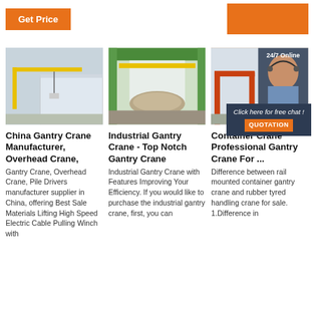Get Price | [button]
[Figure (photo): Yellow gantry crane outside a warehouse building]
[Figure (photo): Industrial gantry crane inside a large industrial building with green metal structure]
[Figure (photo): Container gantry crane (orange/red) outdoors, with 24/7 Online customer service woman overlay and chat popup]
China Gantry Crane Manufacturer, Overhead Crane,
Gantry Crane, Overhead Crane, Pile Drivers manufacturer supplier in China, offering Best Sale Materials Lifting High Speed Electric Cable Pulling Winch with
Industrial Gantry Crane - Top Notch Gantry Crane
Industrial Gantry Crane with Features Improving Your Efficiency. If you would like to purchase the industrial gantry crane, first, you can
Container Crane Professional Gantry Crane For ...
Difference between rail mounted container gantry crane and rubber tyred handling crane for sale. 1.Difference in